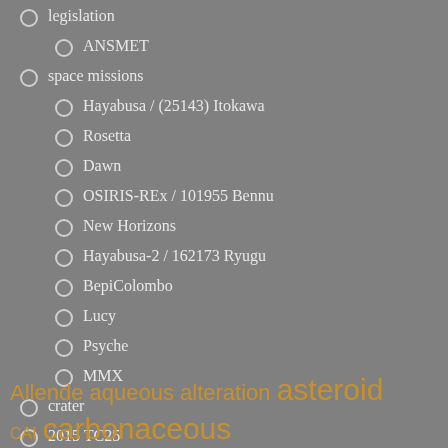legislation
ANSMET
space missions
Hayabusa / (25143) Itokawa
Rosetta
Dawn
OSIRIS-REx / 101955 Bennu
New Horizons
Hayabusa-2 / 162173 Ryugu
BepiColombo
Lucy
Psyche
MMX
crater
2015 TC25
Allende aqueous alteration asteroid CAI carbonaceous